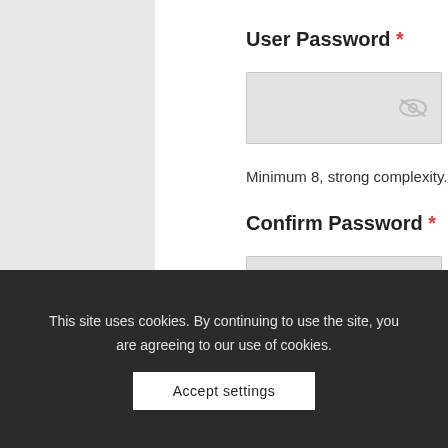User Password *
[Figure (screenshot): Password input field with eye/hide icon on the right]
Minimum 8, strong complexity.
Confirm Password *
[Figure (screenshot): Confirm password input field with eye/hide icon on the right]
[Figure (screenshot): reCAPTCHA widget with checkbox and 'I'm not a robot' label, reCAPTCHA logo, Privacy and Terms links]
This site uses cookies. By continuing to use the site, you are agreeing to our use of cookies.
Accept settings